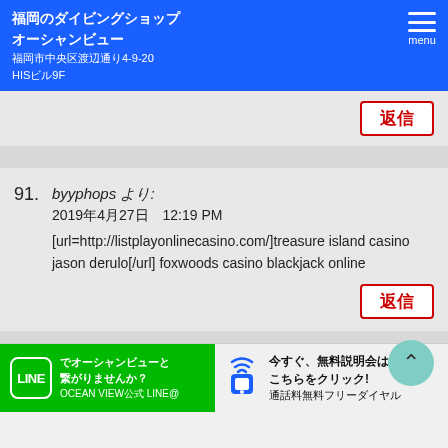福岡のダイビングショップ オーシャンビュー 福岡市中央区渡辺通り4-9-20 HISビル9F
返信
91. byyphops より: 2019年4月27日 12:19 PM [url=http://listplayonlinecasino.com/]treasure island casino jason derulo[/url] foxwoods casino blackjack online
返信
LINEでオーシャンビューと繋がりませんか？ OCEAN VIEW公式 LINE@ 今すぐ、無料説明会はこちらをクリック! 通話料無料フリーダイヤル